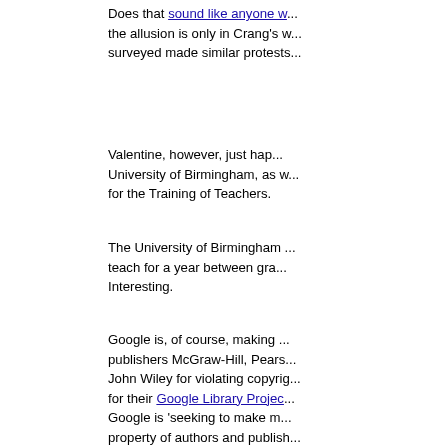Does that sound like anyone w... the allusion is only in Crang's w... surveyed made similar protests...
Valentine, however, just hap... University of Birmingham, as w... for the Training of Teachers.
The University of Birmingham ... teach for a year between gra... Interesting.
Google is, of course, making ... publishers McGraw-Hill, Pears... John Wiley for violating copyrig... for their Google Library Projec... Google is 'seeking to make m... property of authors and publish...
As near as I can figure, Goog... Project scans, but also inclu... publishers. The reference I di... favor of these projects. After a... book out from the college's lib... table as I write this.